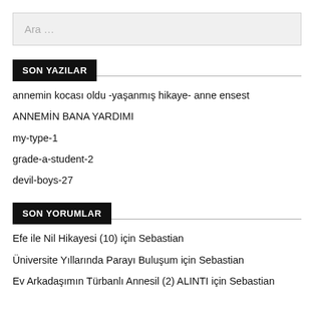Ara ...
SON YAZILAR
annemin kocası oldu -yaşanmış hikaye- anne ensest
ANNEMİN BANA YARDIMI
my-type-1
grade-a-student-2
devil-boys-27
SON YORUMLAR
Efe ile Nil Hikayesi (10) için Sebastian
Üniversite Yıllarında Parayı Buluşum için Sebastian
Ev Arkadaşımın Türbanlı Annesil (2) ALINTI için Sebastian